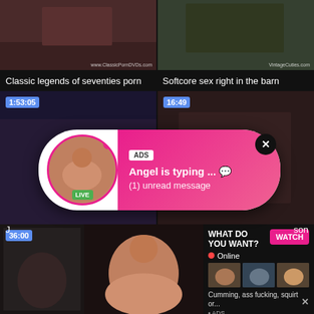[Figure (screenshot): Adult video thumbnail - classic seventies content with watermark www.ClassicPornDVDs.com]
[Figure (screenshot): Adult video thumbnail - softcore content with watermark VintageCuties.com]
Classic legends of seventies porn
Softcore sex right in the barn
[Figure (screenshot): Adult video thumbnail with duration badge 1:53:05]
[Figure (screenshot): Adult video thumbnail with duration badge 16:49]
[Figure (screenshot): Advertisement overlay: ADS label, Angel is typing... with heart emoji, (1) unread message, LIVE badge, close button]
J...
[Figure (screenshot): Adult video thumbnail with duration badge 36:00]
[Figure (screenshot): Ad overlay: WHAT DO YOU WANT? WATCH button, Online status, three thumbnails, text: Cumming, ass fucking, squirt or... • ADS]
son